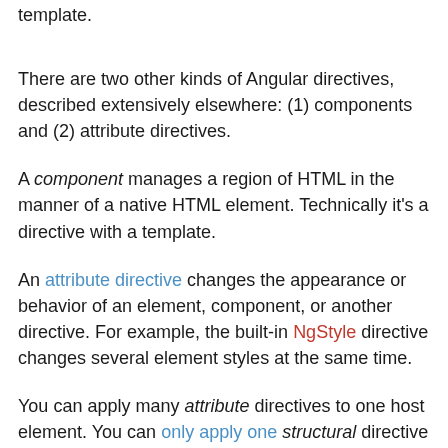template.
There are two other kinds of Angular directives, described extensively elsewhere: (1) components and (2) attribute directives.
A component manages a region of HTML in the manner of a native HTML element. Technically it's a directive with a template.
An attribute directive changes the appearance or behavior of an element, component, or another directive. For example, the built-in NgStyle directive changes several element styles at the same time.
You can apply many attribute directives to one host element. You can only apply one structural directive to a host element.